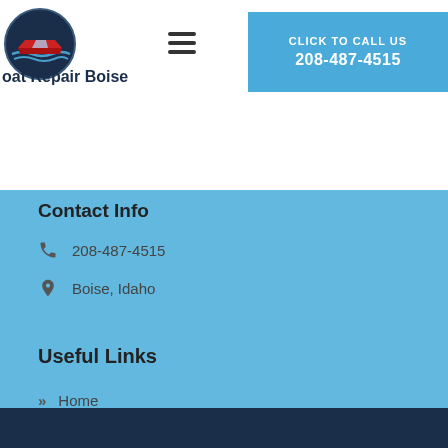[Figure (logo): Boat Repair Boise logo — circular dark navy badge with red speedboat on water waves]
Boat Repair Boise
CLICK TO CALL US
208-487-4515
Contact Info
208-487-4515
Boise, Idaho
Useful Links
Home
Contact
Terms of Service
Privacy Policy
Disclaimer